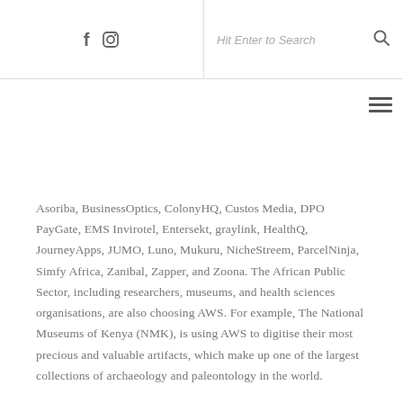f [instagram icon] | Hit Enter to Search [search icon] | [hamburger menu]
Asoriba, BusinessOptics, ColonyHQ, Custos Media, DPO PayGate, EMS Invirotel, Entersekt, graylink, HealthQ, JourneyApps, JUMO, Luno, Mukuru, NicheStreem, ParcelNinja, Simfy Africa, Zanibal, Zapper, and Zoona. The African Public Sector, including researchers, museums, and health sciences organisations, are also choosing AWS. For example, The National Museums of Kenya (NMK), is using AWS to digitise their most precious and valuable artifacts, which make up one of the largest collections of archaeology and paleontology in the world.
Absa, one of the largest and most innovative banks in Africa, welcomes the news of an AWS Region. "AWS